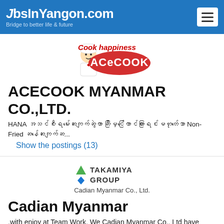JobsInYangon.com – Bridge to better life & future
[Figure (logo): Acecook logo with chef mascot and 'Cook happiness' tagline]
ACECOOK MYANMAR CO.,LTD.
HANA အသင်စီးရမ်းဆေးကျက်ဆွဲဟာ ဆီမြှင်ကြောင်ထားရြင်းမဟုတ်သော Non-Fried ဆန်ဆေးကျက်ဆ...
Show the postings (13)
[Figure (logo): Takamiya Group logo with green triangle and blue diamond icons]
Cadian Myanmar Co., Ltd.
Cadian Myanmar
.with enjoy at Team Work. We Cadian Myanmar Co., Ltd have mainly draw the scaffolding Design by Auto CAD 2D and 3D.. To prevent accident and safety management guidance to the